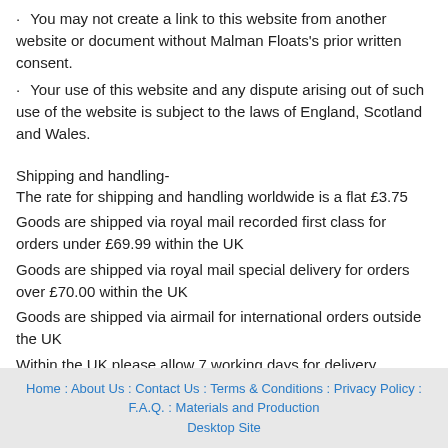· You may not create a link to this website from another website or document without Malman Floats's prior written consent.
· Your use of this website and any dispute arising out of such use of the website is subject to the laws of England, Scotland and Wales.
Shipping and handling-
The rate for shipping and handling worldwide is a flat £3.75
Goods are shipped via royal mail recorded first class for orders under £69.99 within the UK
Goods are shipped via royal mail special delivery for orders over £70.00 within the UK
Goods are shipped via airmail for international orders outside the UK
Within the UK please allow 7 working days for delivery
Outside the UK please allow 14  working days for delivery
Home : About Us : Contact Us : Terms & Conditions : Privacy Policy : F.A.Q. : Materials and Production Desktop Site